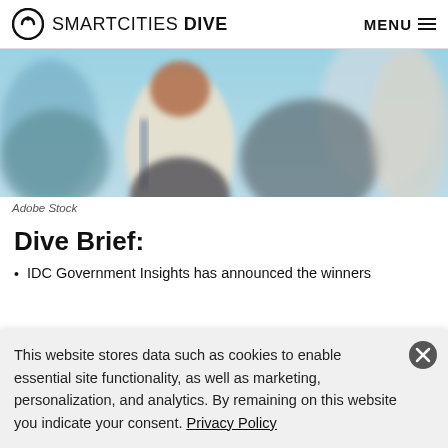SMARTCITIES DIVE | MENU
[Figure (photo): Crowd of people walking outdoors, seen from behind, blurred background, warm sunlight. Adobe Stock image.]
Adobe Stock
Dive Brief:
IDC Government Insights has announced the winners
This website stores data such as cookies to enable essential site functionality, as well as marketing, personalization, and analytics. By remaining on this website you indicate your consent. Privacy Policy